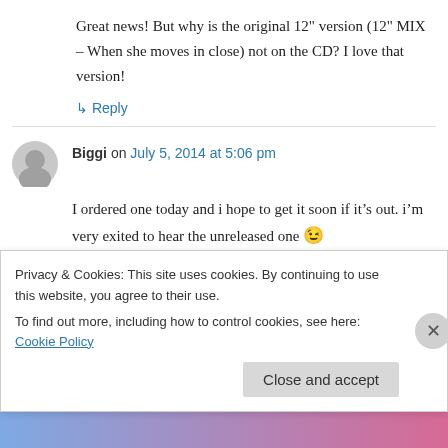Great news! But why is the original 12" version (12" MIX – When she moves in close) not on the CD? I love that version!
↳ Reply
Biggi on July 5, 2014 at 5:06 pm
I ordered one today and i hope to get it soon if it's out. i'm very exited to hear the unreleased one 😉
Privacy & Cookies: This site uses cookies. By continuing to use this website, you agree to their use.
To find out more, including how to control cookies, see here: Cookie Policy
Close and accept